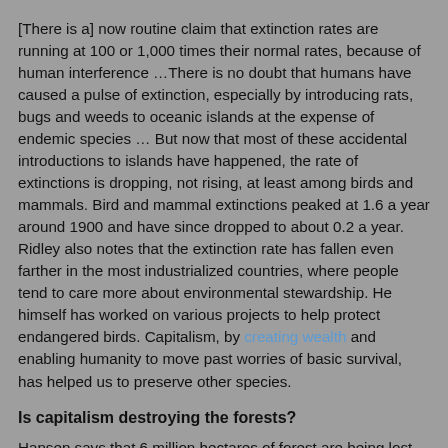[There is a] now routine claim that extinction rates are running at 100 or 1,000 times their normal rates, because of human interference …There is no doubt that humans have caused a pulse of extinction, especially by introducing rats, bugs and weeds to oceanic islands at the expense of endemic species … But now that most of these accidental introductions to islands have happened, the rate of extinctions is dropping, not rising, at least among birds and mammals. Bird and mammal extinctions peaked at 1.6 a year around 1900 and have since dropped to about 0.2 a year. Ridley also notes that the extinction rate has fallen even farther in the most industrialized countries, where people tend to care more about environmental stewardship. He himself has worked on various projects to help protect endangered birds. Capitalism, by creating wealth and enabling humanity to move past worries of basic survival, has helped us to preserve other species.
Is capitalism destroying the forests?
Hansen says that 6 million hectares of forest are being lost...